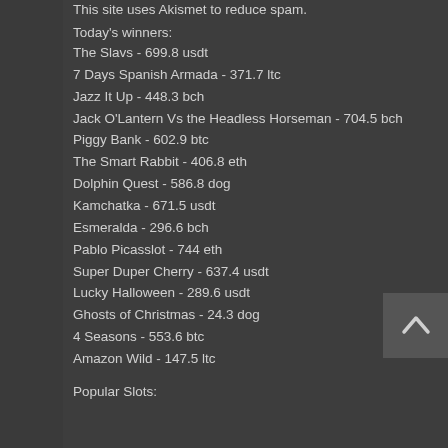This site uses Akismet to reduce spam.
Today's winners:
The Slavs - 699.8 usdt
7 Days Spanish Armada - 371.7 ltc
Jazz It Up - 448.3 bch
Jack O'Lantern Vs the Headless Horseman - 704.5 bch
Piggy Bank - 602.9 btc
The Smart Rabbit - 406.8 eth
Dolphin Quest - 586.8 dog
Kamchatka - 671.5 usdt
Esmeralda - 296.6 bch
Pablo Picasslot - 744 eth
Super Duper Cherry - 637.4 usdt
Lucky Halloween - 289.6 usdt
Ghosts of Christmas - 24.3 dog
4 Seasons - 553.6 btc
Amazon Wild - 147.5 ltc
Popular Slots: